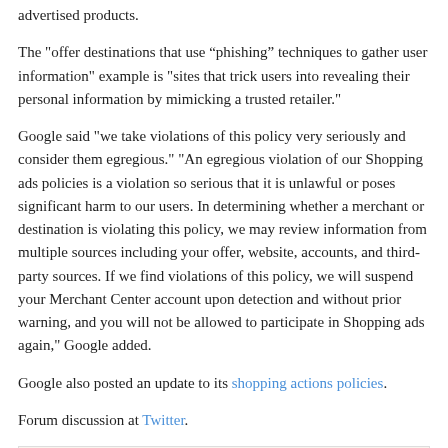advertised products.
The "offer destinations that use “phishing” techniques to gather user information" example is "sites that trick users into revealing their personal information by mimicking a trusted retailer."
Google said "we take violations of this policy very seriously and consider them egregious." "An egregious violation of our Shopping ads policies is a violation so serious that it is unlawful or poses significant harm to our users. In determining whether a merchant or destination is violating this policy, we may review information from multiple sources including your offer, website, accounts, and third-party sources. If we find violations of this policy, we will suspend your Merchant Center account upon detection and without prior warning, and you will not be allowed to participate in Shopping ads again," Google added.
Google also posted an update to its shopping actions policies.
Forum discussion at Twitter.
PREV STORY   NEXT STORY